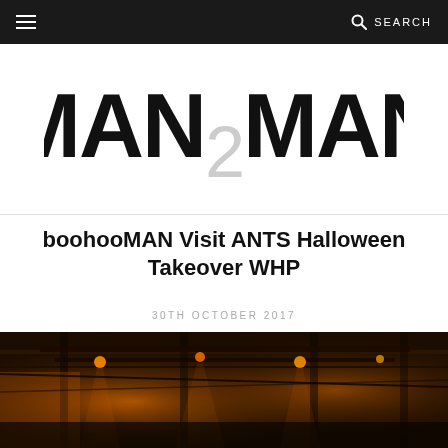☰   🔍 SEARCH
[Figure (logo): MAN2MAN logo in large bold black letters with a grey '2' in the center]
boohooMAN Visit ANTS Halloween Takeover WHP
30TH OCTOBER 2017
[Figure (photo): Dark venue interior with orange/amber lighting showing overhead beams, lighting rigs and industrial ceiling structure]